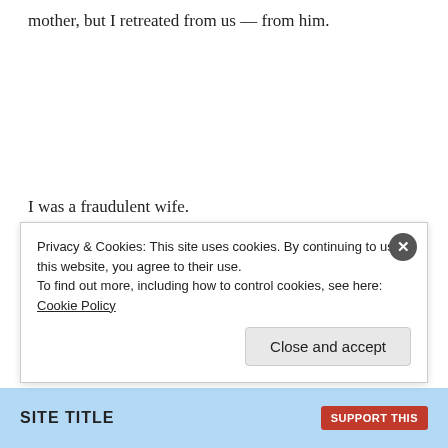mother, but I retreated from us — from him.
I was a fraudulent wife.
I was repulsed not by him, but by the disease slowly taking him away from me.
Every ailment withered his physique, but strengthened
Privacy & Cookies: This site uses cookies. By continuing to use this website, you agree to their use.
To find out more, including how to control cookies, see here: Cookie Policy
Close and accept